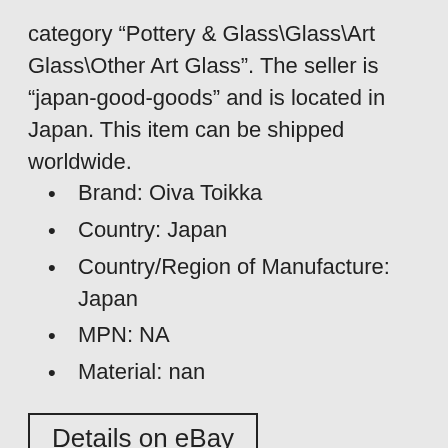category “Pottery & Glass\Glass\Art Glass\Other Art Glass”. The seller is “japan-good-goods” and is located in Japan. This item can be shipped worldwide.
Brand: Oiva Toikka
Country: Japan
Country/Region of Manufacture: Japan
MPN: NA
Material: nan
Details on eBay
Posted in auth
Tagged auth bespoke bird iittala